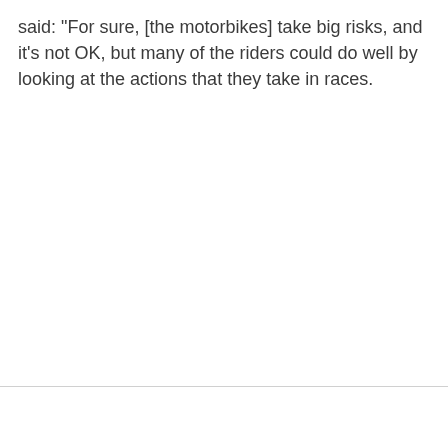said: "For sure, [the motorbikes] take big risks, and it's not OK, but many of the riders could do well by looking at the actions that they take in races.